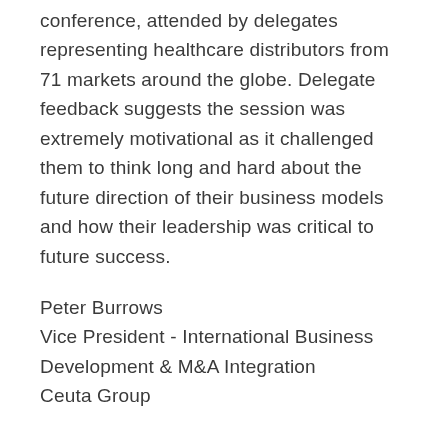conference, attended by delegates representing healthcare distributors from 71 markets around the globe. Delegate feedback suggests the session was extremely motivational as it challenged them to think long and hard about the future direction of their business models and how their leadership was critical to future success.
Peter Burrows
Vice President - International Business Development & M&A Integration
Ceuta Group